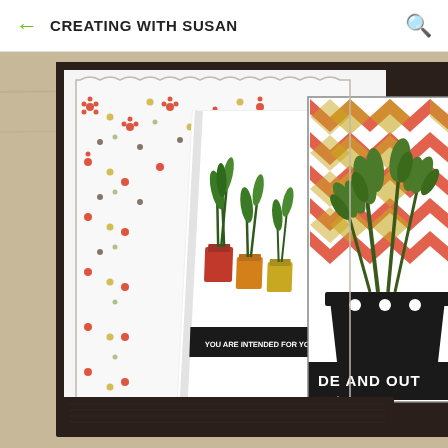CREATING WITH SUSAN
[Figure (photo): A handmade craft/stamping card project photo showing a decorative card with floral patterned paper (red, yellow, brown flowers on white), a dark brown/black card base, and a folded 3D card element featuring potted plants and herb illustrations in green, with colored mason jar/vessel images in red, orange, and yellow. A banner reads 'DE AND OUT' (partially visible, likely 'INSIDE AND OUT'). Smaller text reads 'YOU ARE INTENDED FOR YOU'. The card is photographed at an angle on a wooden surface.]